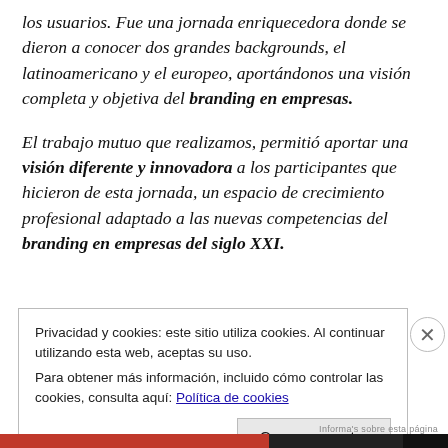los usuarios. Fue una jornada enriquecedora donde se dieron a conocer dos grandes backgrounds, el latinoamericano y el europeo, aportándonos una visión completa y objetiva del branding en empresas.
El trabajo mutuo que realizamos, permitió aportar una visión diferente y innovadora a los participantes que hicieron de esta jornada, un espacio de crecimiento profesional adaptado a las nuevas competencias del branding en empresas del siglo XXI.
Privacidad y cookies: este sitio utiliza cookies. Al continuar utilizando esta web, aceptas su uso. Para obtener más información, incluido cómo controlar las cookies, consulta aquí: Política de cookies
Cerrar y aceptar